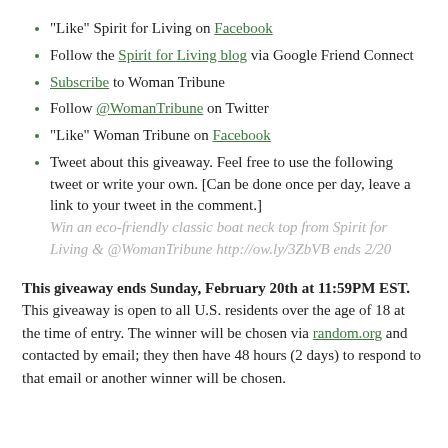“Like” Spirit for Living on Facebook
Follow the Spirit for Living blog via Google Friend Connect
Subscribe to Woman Tribune
Follow @WomanTribune on Twitter
“Like” Woman Tribune on Facebook
Tweet about this giveaway. Feel free to use the following tweet or write your own. [Can be done once per day, leave a link to your tweet in the comment.] Win an eco-friendly classic boat neck top from Spirit for Living & @WomanTribune http://ow.ly/3ZbVB ends 2/20
This giveaway ends Sunday, February 20th at 11:59PM EST. This giveaway is open to all U.S. residents over the age of 18 at the time of entry. The winner will be chosen via random.org and contacted by email; they then have 48 hours (2 days) to respond to that email or another winner will be chosen.